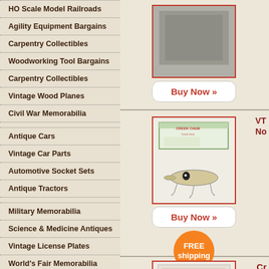HO Scale Model Railroads
Agility Equipment Bargains
Carpentry Collectibles
Woodworking Tool Bargains
Carpentry Collectibles
Vintage Wood Planes
Civil War Memorabilia
Antique Cars
Vintage Car Parts
Automotive Socket Sets
Antique Tractors
Military Memorabilia
Science & Medicine Antiques
Vintage License Plates
World's Fair Memorabilia
Vintage Barber Chairs
Vintage Beer Cans
Beer Signs And Taps
Cone Top Beer Cans
[Figure (photo): Grayscale product photo of an item, top product block]
Buy Now »
[Figure (photo): Creek Chub fishing lure with original box, second product block]
VT No
Buy Now »
[Figure (infographic): Orange circular FREE shipping badge]
[Figure (photo): Third product block image, partially visible, Cr label visible]